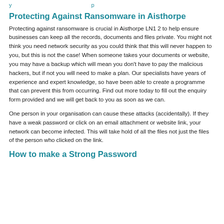y … p
Protecting Against Ransomware in Aisthorpe
Protecting against ransomware is crucial in Aisthorpe LN1 2 to help ensure businesses can keep all the records, documents and files private. You might not think you need network security as you could think that this will never happen to you, but this is not the case! When someone takes your documents or website, you may have a backup which will mean you don't have to pay the malicious hackers, but if not you will need to make a plan. Our specialists have years of experience and expert knowledge, so have been able to create a programme that can prevent this from occurring. Find out more today to fill out the enquiry form provided and we will get back to you as soon as we can.
One person in your organisation can cause these attacks (accidentally). If they have a weak password or click on an email attachment or website link, your network can become infected. This will take hold of all the files not just the files of the person who clicked on the link.
How to make a Strong Password